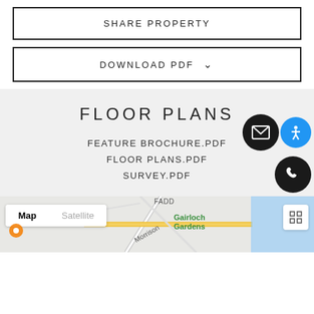SHARE PROPERTY
DOWNLOAD PDF ∨
FLOOR PLANS
FEATURE BROCHURE.PDF
FLOOR PLANS.PDF
SURVEY.PDF
[Figure (map): Google map showing Gairloch Gardens area with Map/Satellite toggle and expand button]
Map   Satellite
Gairloch Gardens